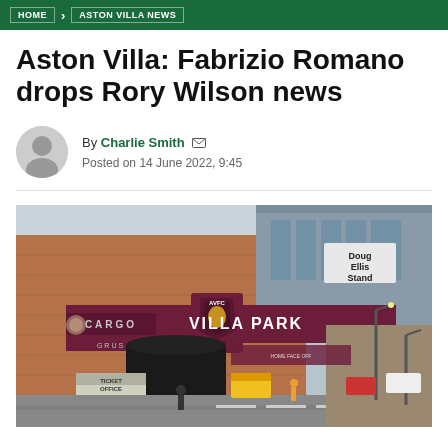HOME > ASTON VILLA NEWS
Aston Villa: Fabrizio Romano drops Rory Wilson news
By Charlie Smith  Posted on 14 June 2022, 9:45
[Figure (photo): Exterior photograph of Villa Park stadium showing the AVFC crest sign, VILLA PARK lettering on a claret-colored fascia, Doug Ellis Stand signage, ticket office, and surrounding street scene.]